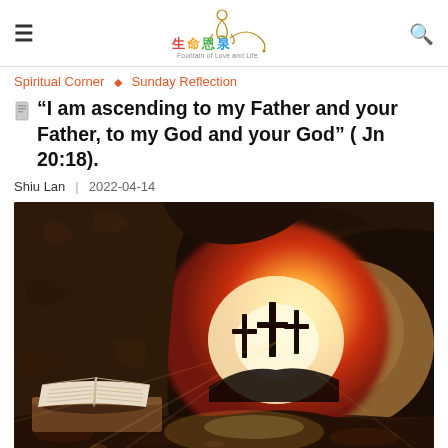生命恩泉 Fountain of Love and Life
Spiritual Corner ◇ Sunday Reflection
“I am ascending to my Father and your Father, to my God and your God” (Jn 20:18).
Shiu Lan  |  2022-04-14
[Figure (photo): An open stone tomb with a large rock rolled away, revealing three crosses silhouetted against a glowing orange and red sunrise sky. In the foreground inside the tomb, an open book rests on a stone ledge.]